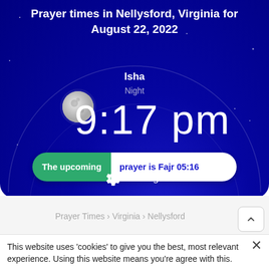Prayer times in Nellysford, Virginia for August 22, 2022
Isha
Night
9:17 pm
The upcoming prayer is Fajr 05:16
Settings
Prayer Times › Virginia › Nellysford
This website uses 'cookies' to give you the best, most relevant experience. Using this website means you're agree with this.